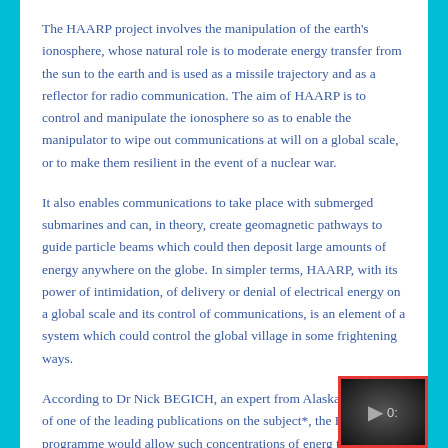The HAARP project involves the manipulation of the earth's ionosphere, whose natural role is to moderate energy transfer from the sun to the earth and is used as a missile trajectory and as a reflector for radio communication. The aim of HAARP is to control and manipulate the ionosphere so as to enable the manipulator to wipe out communications at will on a global scale, or to make them resilient in the event of a nuclear war.
It also enables communications to take place with submerged submarines and can, in theory, create geomagnetic pathways to guide particle beams which could then deposit large amounts of energy anywhere on the globe. In simpler terms, HAARP, with its power of intimidation, of delivery or denial of electrical energy on a global scale and its control of communications, is an element of a system which could control the global village in some frightening ways.
According to Dr Nick BEGICH, an expert from Alaska and author of one of the leading publications on the subject*, the HAARP programme would allow such concentrations of energy to be attained that an entire region of the planet could be
[Figure (screenshot): Video player overlay showing a play button and timestamp starting with 0: partially visible, with a red border frame on a black background]